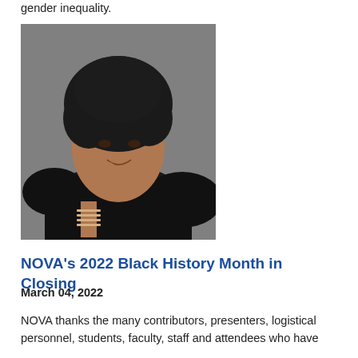gender inequality.
[Figure (photo): Portrait photo of a woman with short curly hair wearing a black top, resting her chin on her hand and smiling, with metal bangle bracelets on her wrist, against a grey background.]
NOVA's 2022 Black History Month in Closing
March 04, 2022
NOVA thanks the many contributors, presenters, logistical personnel, students, faculty, staff and attendees who have